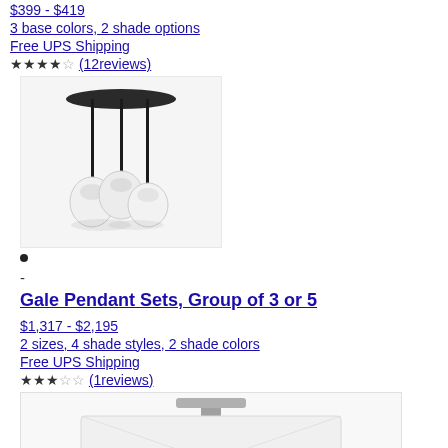$399 - $419
3 base colors, 2 shade options
Free UPS Shipping
★★★★☆(12reviews)
[Figure (photo): Pendant light fixture with dark circular ceiling canopy and three hanging lights with white globe shades]
•
-
Gale Pendant Sets, Group of 3 or 5
$1,317 - $2,195
2 sizes, 4 shade styles, 2 shade colors
Free UPS Shipping
★★★☆☆(1reviews)
[Figure (photo): White pendant light fixture with rectangular shade shown from below]